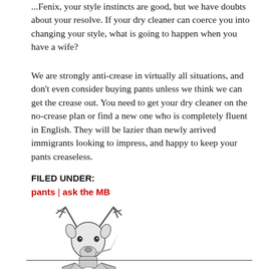...Fenix, your style instincts are good, but we have doubts about your resolve. If your dry cleaner can coerce you into changing your style, what is going to happen when you have a wife?
We are strongly anti-crease in virtually all situations, and don't even consider buying pants unless we think we can get the crease out. You need to get your dry cleaner on the no-crease plan or find a new one who is completely fluent in English. They will be lazier than newly arrived immigrants looking to impress, and happy to keep your pants creaseless.
FILED UNDER:
pants | ask the MB
[Figure (illustration): Illustration of a deer (stag) dressed in a suit jacket and tie, smoking a cigarette, from the chest up, with antlers visible. Black and white sketch style.]